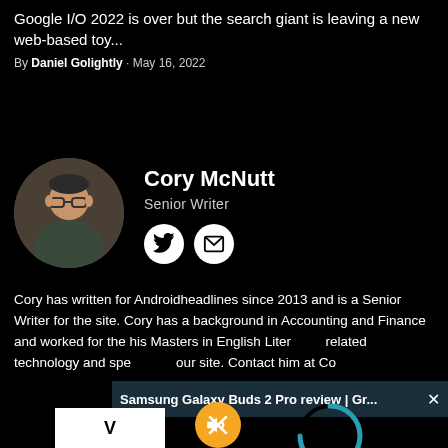Google I/O 2022 is over but the search giant is leaving a new web-based toy...
By Daniel Golightly · May 16, 2022
[Figure (photo): Circular profile photo of Cory McNutt, a middle-aged man with glasses]
Cory McNutt
Senior Writer
[Figure (infographic): Social media icons: Twitter bird icon and envelope/email icon, both in white circles]
Cory has written for Androidheadlines since 2013 and is a Senior Writer for the site. Cory has a background in Accounting and Finance and worked for the... his Masters in English Liter... related technology and spe... our site. Contact him at Co...
[Figure (screenshot): Browser overlay bar showing 'Samsung Galaxy Buds 2 Pro review | Gr...' with an X close button, a muted audio button (orange circle with crossed speaker), and a loading spinner (teal arc)]